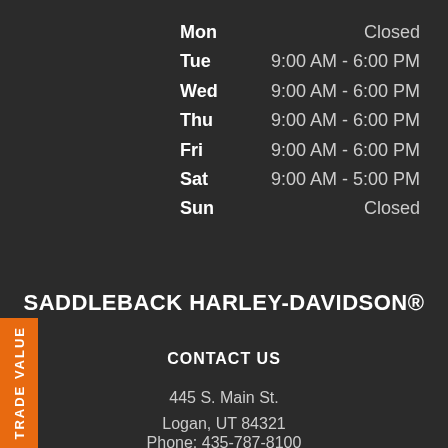| Day | Hours |
| --- | --- |
| Mon | Closed |
| Tue | 9:00 AM - 6:00 PM |
| Wed | 9:00 AM - 6:00 PM |
| Thu | 9:00 AM - 6:00 PM |
| Fri | 9:00 AM - 6:00 PM |
| Sat | 9:00 AM - 5:00 PM |
| Sun | Closed |
SADDLEBACK HARLEY-DAVIDSON®
CONTACT US
445 S. Main St.
Logan, UT 84321
Phone: 435-787-8100
Toll Free: 855-898-6083
TRADE VALUE